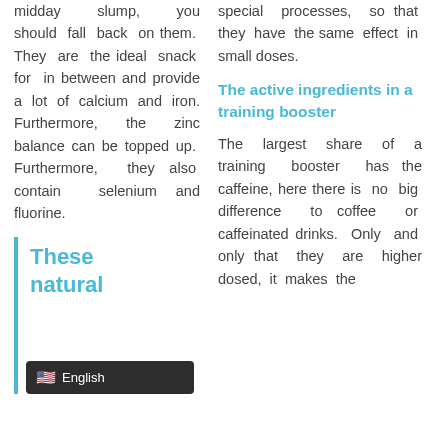midday slump, you should fall back on them. They are the ideal snack for in between and provide a lot of calcium and iron. Furthermore, the zinc balance can be topped up. Furthermore, they also contain selenium and fluorine.
These natural are
special processes, so that they have the same effect in small doses.
The active ingredients in a training booster
The largest share of a training booster has the caffeine, here there is no big difference to coffee or caffeinated drinks. Only and only that they are higher dosed, it makes the